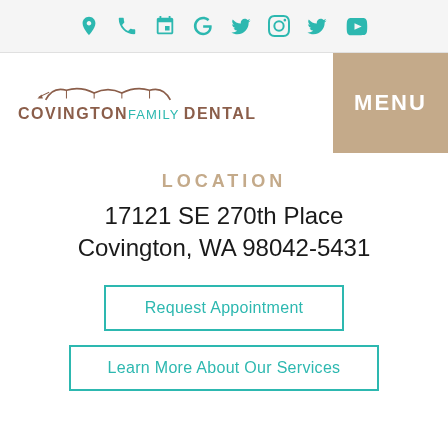Icon bar with location, phone, appointment, Google, Facebook, Instagram, Twitter, YouTube icons
[Figure (logo): Covington Family Dental logo with tooth arch graphic above text]
MENU
LOCATION
17121 SE 270th Place
Covington, WA 98042-5431
Request Appointment
Learn More About Our Services